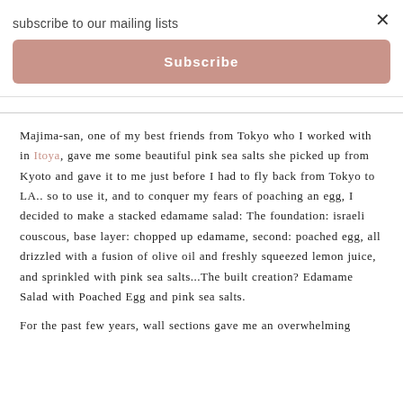subscribe to our mailing lists
Subscribe
×
Majima-san, one of my best friends from Tokyo who I worked with in Itoya, gave me some beautiful pink sea salts she picked up from Kyoto and gave it to me just before I had to fly back from Tokyo to LA.. so to use it, and to conquer my fears of poaching an egg, I decided to make a stacked edamame salad: The foundation: israeli couscous, base layer: chopped up edamame, second: poached egg, all drizzled with a fusion of olive oil and freshly squeezed lemon juice, and sprinkled with pink sea salts...The built creation? Edamame Salad with Poached Egg and pink sea salts.
For the past few years, wall sections gave me an overwhelming